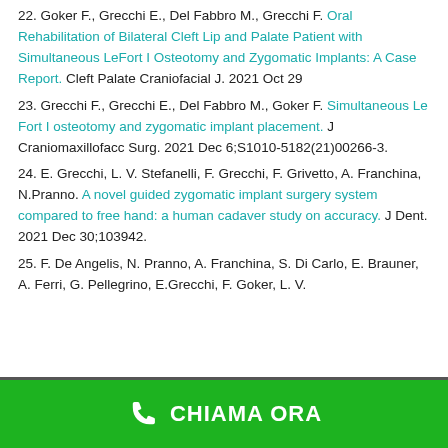22. Goker F., Grecchi E., Del Fabbro M., Grecchi F. Oral Rehabilitation of Bilateral Cleft Lip and Palate Patient with Simultaneous LeFort I Osteotomy and Zygomatic Implants: A Case Report. Cleft Palate Craniofacial J. 2021 Oct 29
23. Grecchi F., Grecchi E., Del Fabbro M., Goker F. Simultaneous Le Fort I osteotomy and zygomatic implant placement. J Craniomaxillofacc Surg. 2021 Dec 6;S1010-5182(21)00266-3.
24. E. Grecchi, L. V. Stefanelli, F. Grecchi, F. Grivetto, A. Franchina, N.Pranno. A novel guided zygomatic implant surgery system compared to free hand: a human cadaver study on accuracy. J Dent. 2021 Dec 30;103942.
25. F. De Angelis, N. Pranno, A. Franchina, S. Di Carlo, E. Brauner, A. Ferri, G. Pellegrino, E.Grecchi, F. Goker, L. V.
[Figure (infographic): Green footer bar with a white phone icon and bold white text reading CHIAMA ORA]